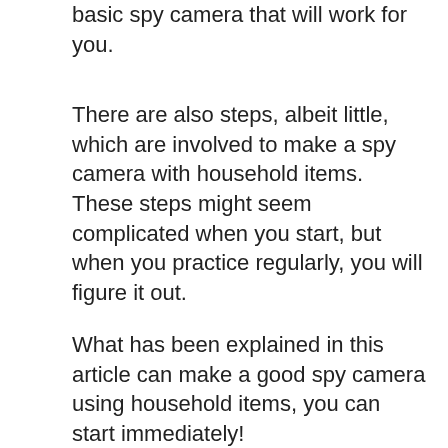basic spy camera that will work for you.
There are also steps, albeit little, which are involved to make a spy camera with household items. These steps might seem complicated when you start, but when you practice regularly, you will figure it out.
What has been explained in this article can make a good spy camera using household items, you can start immediately!
[Figure (screenshot): YouTube video thumbnail showing a tiny spy camera held on a fingertip, with YouTube play button overlay and text 'How to Make a spy camera']